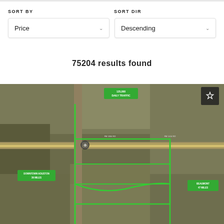SORT BY
SORT DIR
Price
Descending
75204 results found
[Figure (map): Aerial satellite map showing a rural/suburban area with green property boundary outlines, road networks, and labeled markers including 'DOWNTOWN HOUSTON 36 MILES', 'BEAUMONT 47 MILES', and a traffic count label. A star/favorite icon is visible in the top-right corner of the map.]